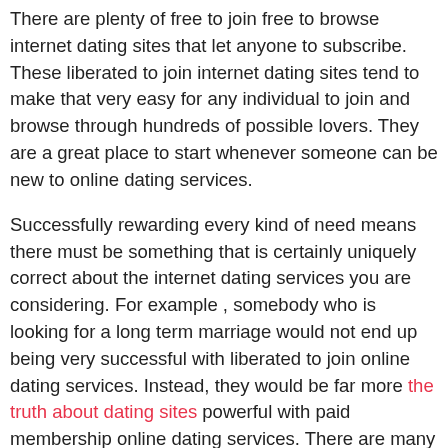There are plenty of free to join free to browse internet dating sites that let anyone to subscribe. These liberated to join internet dating sites tend to make that very easy for any individual to join and browse through hundreds of possible lovers. They are a great place to start whenever someone can be new to online dating services.
Successfully rewarding every kind of need means there must be something that is certainly uniquely correct about the internet dating services you are considering. For example , somebody who is looking for a long term marriage would not end up being very successful with liberated to join online dating services. Instead, they would be far more the truth about dating sites powerful with paid membership online dating services. There are many main reasons why this is the circumstance and you should consider them before deciding which in turn online products to use.
Amazing knowing whether a dating web page is well-known because that can often reflect the caliber of the item...